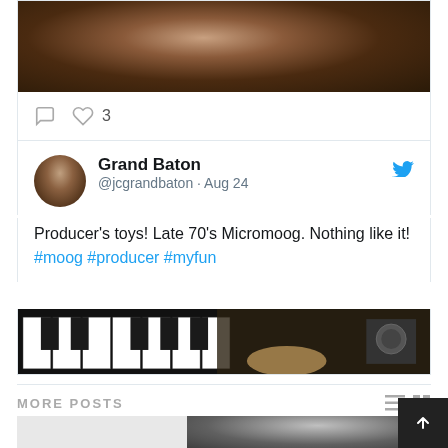[Figure (photo): Top portion of a tweet card showing a photo of a person with long dark hair in a studio setting]
[Figure (illustration): Action bar with comment icon, heart icon, and count of 3 likes]
[Figure (screenshot): Tweet by Grand Baton @jcgrandbaton from Aug 24 with avatar photo and Twitter bird logo]
Producer’s toys! Late 70’s Micromoog. Nothing like it! #moog #producer #myfun
[Figure (photo): Photo of keyboard/synthesizer keys being played]
MORE POSTS
[Figure (photo): Two thumbnail images below MORE POSTS section: a light gray placeholder and a black and white photo of a person with dreadlocks]